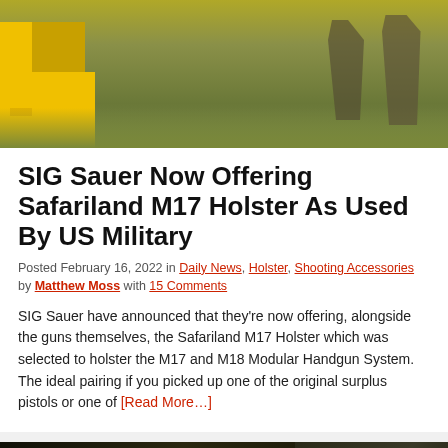[Figure (photo): Soldiers in camouflage uniforms on a shooting range with yellow barriers/targets in the foreground]
SIG Sauer Now Offering Safariland M17 Holster As Used By US Military
Posted February 16, 2022 in Daily News, Holster, Shooting Accessories by Matthew Moss with 15 Comments
SIG Sauer have announced that they're now offering, alongside the guns themselves, the Safariland M17 Holster which was selected to holster the M17 and M18 Modular Handgun System. The ideal pairing if you picked up one of the original surplus pistols or one of [Read More…]
[Figure (infographic): Bass Pro Shops advertisement banner: Highest-Rated Gear with 4.9 star rating and product image]